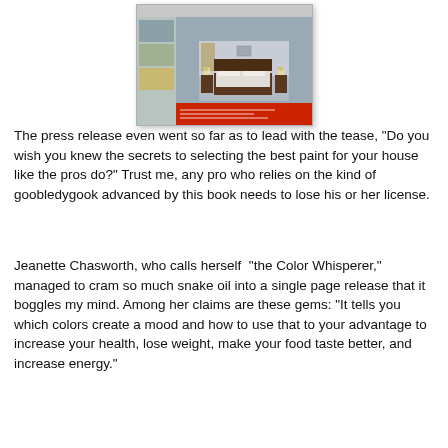[Figure (photo): Thumbnail image of a book cover showing a bedroom interior with a bed, nightstands, and lamps, with a red footer strip at the bottom.]
The press release even went so far as to lead with the tease, "Do you wish you knew the secrets to selecting the best paint for your house like the pros do?" Trust me, any pro who relies on the kind of goobledygook advanced by this book needs to lose his or her license.
Jeanette Chasworth, who calls herself  "the Color Whisperer," managed to cram so much snake oil into a single page release that it boggles my mind. Among her claims are these gems: "It tells you which colors create a mood and how to use that to your advantage to increase your health, lose weight, make your food taste better, and increase energy."